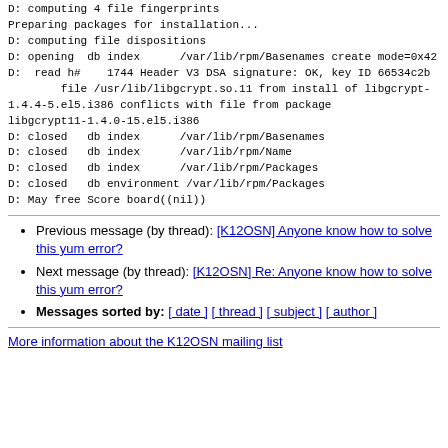D: computing 4 file fingerprints
Preparing packages for installation...
D: computing file dispositions
D: opening  db index      /var/lib/rpm/Basenames create mode=0x42
D:  read h#    1744 Header V3 DSA signature: OK, key ID 66534c2b
        file /usr/lib/libgcrypt.so.11 from install of libgcrypt-1.4.4-5.el5.i386 conflicts with file from package
libgcrypt11-1.4.0-15.el5.i386
D: closed   db index      /var/lib/rpm/Basenames
D: closed   db index      /var/lib/rpm/Name
D: closed   db index      /var/lib/rpm/Packages
D: closed   db environment /var/lib/rpm/Packages
D: May free Score board((nil))
Previous message (by thread): [K12OSN] Anyone know how to solve this yum error?
Next message (by thread): [K12OSN] Re: Anyone know how to solve this yum error?
Messages sorted by: [ date ] [ thread ] [ subject ] [ author ]
More information about the K12OSN mailing list